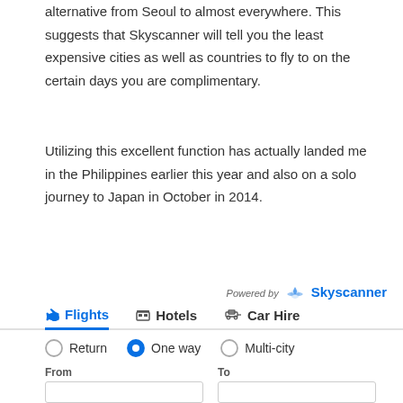alternative from Seoul to almost everywhere. This suggests that Skyscanner will tell you the least expensive cities as well as countries to fly to on the certain days you are complimentary.
Utilizing this excellent function has actually landed me in the Philippines earlier this year and also on a solo journey to Japan in October in 2014.
Utilize this function, and also use it commonly, and quickly you will be taking a trip to more countries than you ever dreamed feasible! When writing a Skyscanner testimonial, this function is my favored!
[Figure (screenshot): Skyscanner booking widget with Flights, Hotels, Car Hire tabs. Flights tab active with blue underline. Radio buttons: Return (unselected), One way (selected, filled blue), Multi-city (unselected). From and To input fields at bottom.]